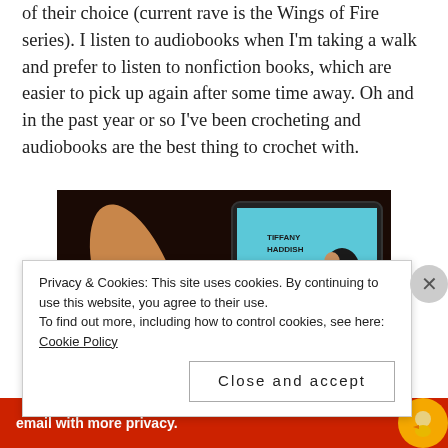of their choice (current rave is the Wings of Fire series). I listen to audiobooks when I'm taking a walk and prefer to listen to nonfiction books, which are easier to pick up again after some time away. Oh and in the past year or so I've been crocheting and audiobooks are the best thing to crochet with.
[Figure (photo): Photo of red crochet work with a crochet hook, alongside a tablet/phone displaying an audiobook cover for Tiffany Haddish's book, with a pause button visible on the screen.]
Privacy & Cookies: This site uses cookies. By continuing to use this website, you agree to their use.
To find out more, including how to control cookies, see here: Cookie Policy
Close and accept
email with more privacy.